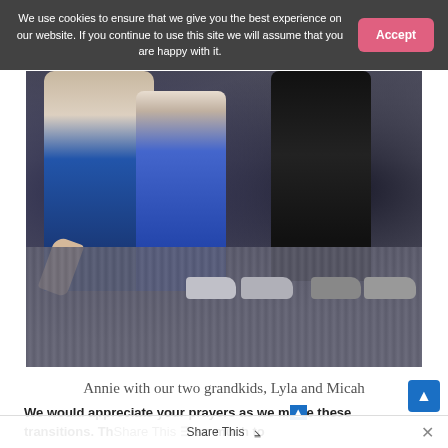We use cookies to ensure that we give you the best experience on our website. If you continue to use this site we will assume that you are happy with it.
[Figure (photo): Photo of Annie with two grandchildren Lyla and Micah, kneeling/standing on a carpeted floor. Lower bodies and feet/shoes visible.]
Annie with our two grandkids, Lyla and Micah
We would appreciate your prayers as we make these transitions. Thank you so much to
Share This